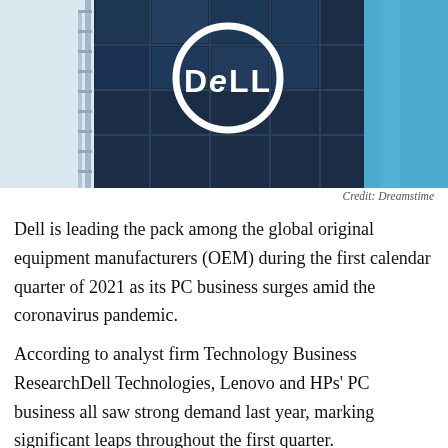[Figure (photo): Exterior of a Dell building with the Dell logo (circle with a slanted 'e') displayed prominently on dark blue glass windows, against a blue sky background.]
Credit: Dreamstime
Dell is leading the pack among the global original equipment manufacturers (OEM) during the first calendar quarter of 2021 as its PC business surges amid the coronavirus pandemic.
According to analyst firm Technology Business ResearchDell Technologies, Lenovo and HPs' PC business all saw strong demand last year, marking significant leaps throughout the first quarter.